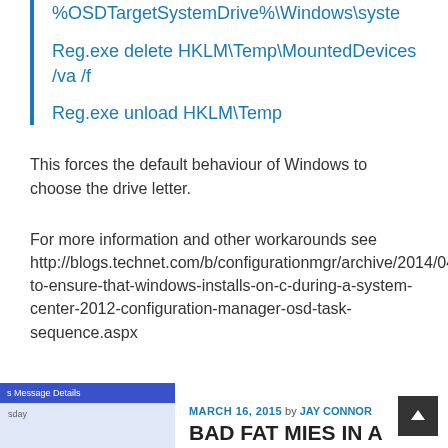%OSDTargetSystemDrive%\Windows\syste...
Reg.exe delete HKLM\Temp\MountedDevices /va /f
Reg.exe unload HKLM\Temp
This forces the default behaviour of Windows to choose the drive letter.
For more information and other workarounds see http://blogs.technet.com/b/configurationmgr/archive/2014/04/2 to-ensure-that-windows-installs-on-c-during-a-system-center-2012-configuration-manager-osd-task-sequence.aspx
[Figure (screenshot): Screenshot thumbnail showing a message details window with blue title bar]
MARCH 16, 2015 by JAY CONNOR
BAD FAT MIES IN A